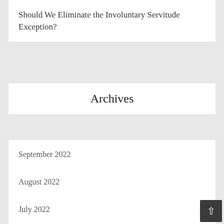Should We Eliminate the Involuntary Servitude Exception?
Archives
September 2022
August 2022
July 2022
June 2022
May 2022
April 2022
March 2022